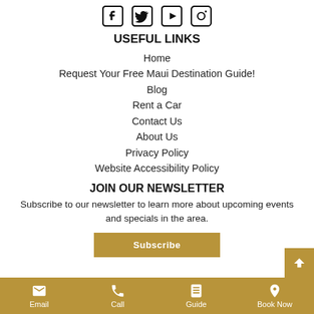[Figure (illustration): Social media icons: Facebook, Twitter, YouTube, Instagram]
USEFUL LINKS
Home
Request Your Free Maui Destination Guide!
Blog
Rent a Car
Contact Us
About Us
Privacy Policy
Website Accessibility Policy
JOIN OUR NEWSLETTER
Subscribe to our newsletter to learn more about upcoming events and specials in the area.
Email   Call   Guide   Book Now